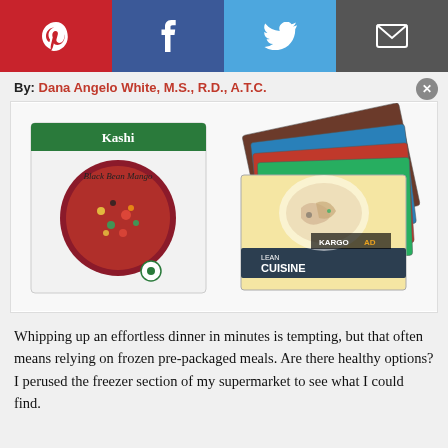[Figure (other): Social media sharing buttons bar: Pinterest (red), Facebook (dark blue), Twitter (light blue), Email (dark grey)]
By: Dana Angelo White, M.S., R.D., A.T.C.
[Figure (photo): Frozen meal product boxes including Kashi Black Bean Mango and Lean Cuisine varieties arranged together on a white background]
Whipping up an effortless dinner in minutes is tempting, but that often means relying on frozen pre-packaged meals. Are there healthy options? I perused the freezer section of my supermarket to see what I could find.